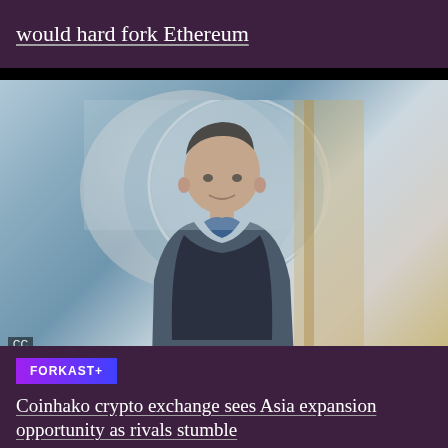would hard fork Ethereum
[Figure (photo): Man in a puffer vest on a video call, with a large circular light/mirror behind him, indoor office background]
CC
FORKAST+
Coinhako crypto exchange sees Asia expansion opportunity as rivals stumble